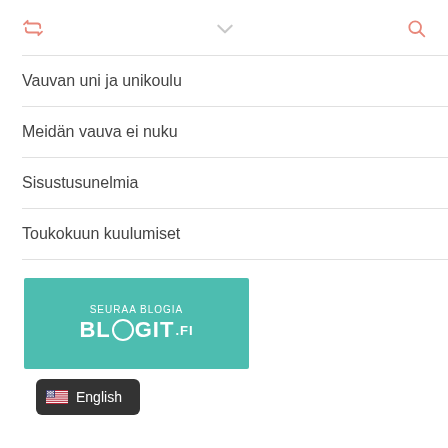retweet icon | chevron down | search icon
Vauvan uni ja unikoulu
Meidän vauva ei nuku
Sisustusunelmia
Toukokuun kuulumiset
[Figure (logo): Teal banner with text SEURAA BLOGIA BLOGIT.FI]
English (language selector button with US flag)